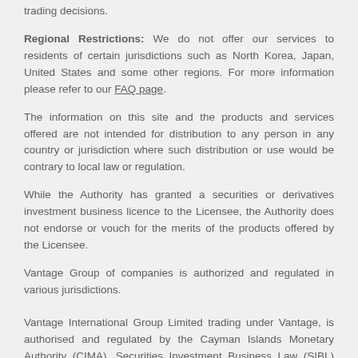trading decisions.
Regional Restrictions: We do not offer our services to residents of certain jurisdictions such as North Korea, Japan, United States and some other regions. For more information please refer to our FAQ page.
The information on this site and the products and services offered are not intended for distribution to any person in any country or jurisdiction where such distribution or use would be contrary to local law or regulation.
While the Authority has granted a securities or derivatives investment business licence to the Licensee, the Authority does not endorse or vouch for the merits of the products offered by the Licensee.
Vantage Group of companies is authorized and regulated in various jurisdictions.
Vantage International Group Limited trading under Vantage, is authorised and regulated by the Cayman Islands Monetary Authority (CIMA), Securities Investment Business Law (SIBL) number 1383491 and is registered at Artemis House, 67 Fort St, PO Box 2775, Grand Cayman KY1-1111.
Email: support@vantagemarkets.com